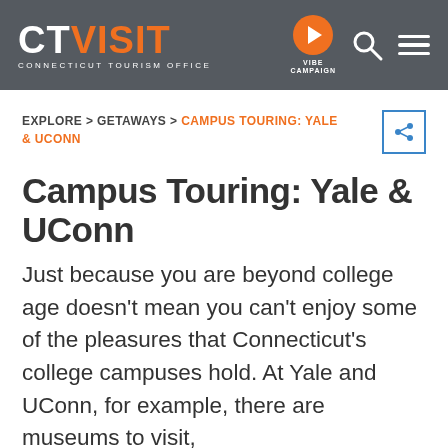CT VISIT — CONNECTICUT TOURISM OFFICE — VIBE CAMPAIGN
EXPLORE > GETAWAYS > CAMPUS TOURING: YALE & UCONN
Campus Touring: Yale & UConn
Just because you are beyond college age doesn't mean you can't enjoy some of the pleasures that Connecticut's college campuses hold. At Yale and UConn, for example, there are museums to visit,